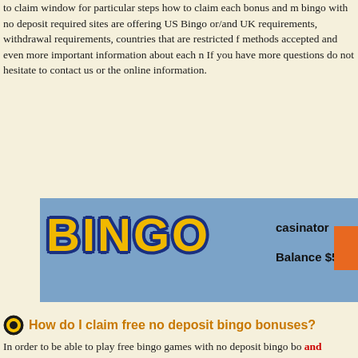to claim window for particular steps how to claim each bonus and m bingo with no deposit required sites are offering US Bingo or/and UK requirements, withdrawal requirements, countries that are restricted f methods accepted and even more important information about each n If you have more questions do not hesitate to contact us or the online information.
[Figure (screenshot): Bingo website banner showing BINGO logo in gold/yellow letters on blue background, casinator username, Balance $5.00, and orange button]
How do I claim free no deposit bingo bonuses?
In order to be able to play free bingo games with no deposit bingo bo and banners on this page to get to the bingo sites where you can sig software and sign up using this software. In case it is stated you may code upon sign up. You can find the bonus codes on the free bingo no free bingo sites with no deposit bonus provide the bonus instantly y ready in your bonus account instantly. If not you may need to contac sites in order to receive your free money or just wait till they credit y able to play free bingo games online. If you are waiting for your free contact bingo manager via live chat feature in the bingo software.